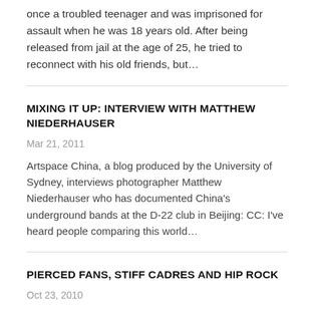once a troubled teenager and was imprisoned for assault when he was 18 years old. After being released from jail at the age of 25, he tried to reconnect with his old friends, but...
MIXING IT UP: INTERVIEW WITH MATTHEW NIEDERHAUSER
Mar 21, 2011
Artspace China, a blog produced by the University of Sydney, interviews photographer Matthew Niederhauser who has documented China’s underground bands at the D-22 club in Beijing: CC: I’ve heard people comparing this world...
PIERCED FANS, STIFF CADRES AND HIP ROCK
Oct 23, 2010